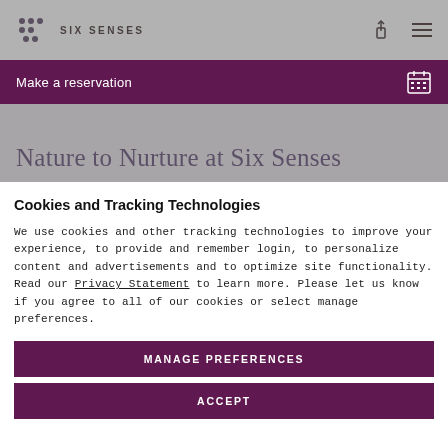SIX SENSES
Make a reservation
Nature to Nurture at Six Senses
Cookies and Tracking Technologies
We use cookies and other tracking technologies to improve your experience, to provide and remember login, to personalize content and advertisements and to optimize site functionality. Read our Privacy Statement to learn more. Please let us know if you agree to all of our cookies or select manage preferences.
MANAGE PREFERENCES
ACCEPT